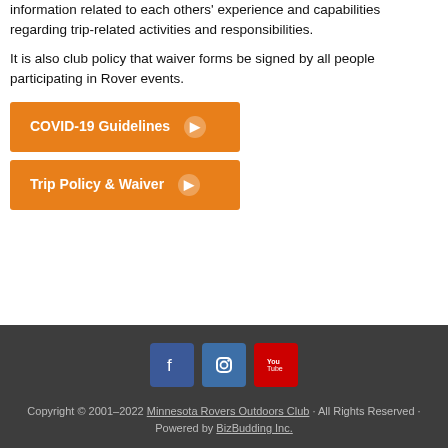information related to each others' experience and capabilities regarding trip-related activities and responsibilities.
It is also club policy that waiver forms be signed by all people participating in Rover events.
COVID-19 Guidelines
Trip Policy & Waiver
Copyright © 2001–2022 Minnesota Rovers Outdoors Club · All Rights Reserved · Powered by BizBudding Inc.